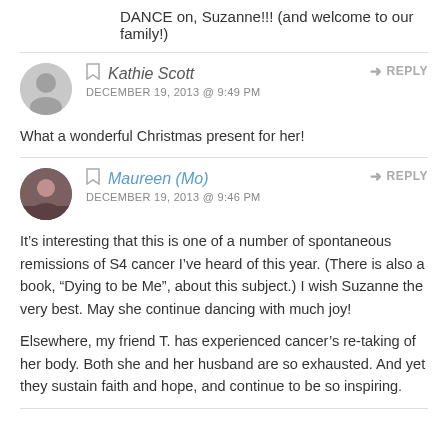DANCE on, Suzanne!!! (and welcome to our family!)
Kathie Scott
DECEMBER 19, 2013 @ 9:49 PM
What a wonderful Christmas present for her!
Maureen (Mo)
DECEMBER 19, 2013 @ 9:46 PM
It’s interesting that this is one of a number of spontaneous remissions of S4 cancer I’ve heard of this year. (There is also a book, “Dying to be Me”, about this subject.) I wish Suzanne the very best. May she continue dancing with much joy!
Elsewhere, my friend T. has experienced cancer’s re-taking of her body. Both she and her husband are so exhausted. And yet they sustain faith and hope, and continue to be so inspiring.